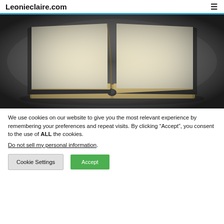Leonieclaire.com
[Figure (photo): Open book with blank aged pages, lying on a dark background, viewed from above at slight angle]
We use cookies on our website to give you the most relevant experience by remembering your preferences and repeat visits. By clicking “Accept”, you consent to the use of ALL the cookies.
Do not sell my personal information.